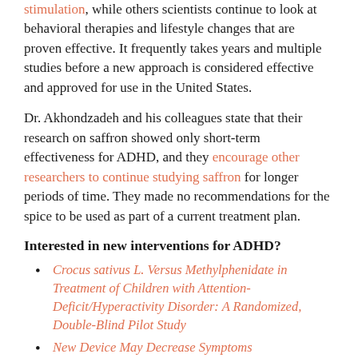stimulation, while others scientists continue to look at behavioral therapies and lifestyle changes that are proven effective. It frequently takes years and multiple studies before a new approach is considered effective and approved for use in the United States.
Dr. Akhondzadeh and his colleagues state that their research on saffron showed only short-term effectiveness for ADHD, and they encourage other researchers to continue studying saffron for longer periods of time. They made no recommendations for the spice to be used as part of a current treatment plan.
Interested in new interventions for ADHD?
Crocus sativus L. Versus Methylphenidate in Treatment of Children with Attention-Deficit/Hyperactivity Disorder: A Randomized, Double-Blind Pilot Study
New Device May Decrease Symptoms
Why Do People Seek Complementary Treatments?
Complementary and Alternative Treatments—A Chat with Stephanie Moulton Sarkis, PhD, NCC, LMHC
Trip Pill Supplements and ADHD